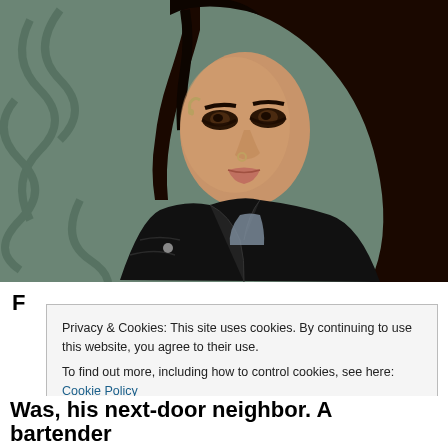[Figure (photo): Young woman with long dark brown hair, braids on one side, wearing heavy eye makeup, nose ring, ear cuffs, a black quilted leather jacket over a gray/blue shirt. She is posed against a dark teal/olive green background with decorative swirl/floral patterns.]
F...
Privacy & Cookies: This site uses cookies. By continuing to use this website, you agree to their use.
To find out more, including how to control cookies, see here: Cookie Policy
[Close and accept]
Was, his next-door neighbor. A bartender